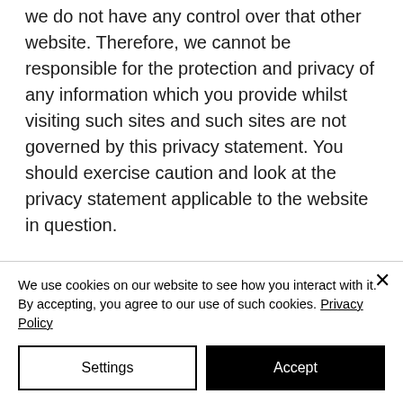we do not have any control over that other website. Therefore, we cannot be responsible for the protection and privacy of any information which you provide whilst visiting such sites and such sites are not governed by this privacy statement. You should exercise caution and look at the privacy statement applicable to the website in question.
Controlling your personal information
We use cookies on our website to see how you interact with it. By accepting, you agree to our use of such cookies. Privacy Policy